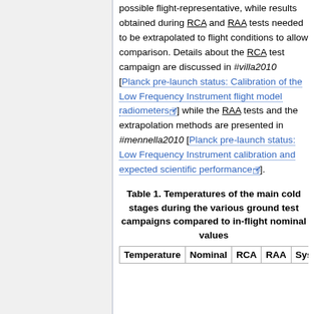possible flight-representative, while results obtained during RCA and RAA tests needed to be extrapolated to flight conditions to allow comparison. Details about the RCA test campaign are discussed in #villa2010 [Planck pre-launch status: Calibration of the Low Frequency Instrument flight model radiometers] while the RAA tests and the extrapolation methods are presented in #mennella2010 [Planck pre-launch status: Low Frequency Instrument calibration and expected scientific performance].
Table 1. Temperatures of the main cold stages during the various ground test campaigns compared to in-flight nominal values
| Temperature | Nominal | RCA | RAA | Syste... |
| --- | --- | --- | --- | --- |